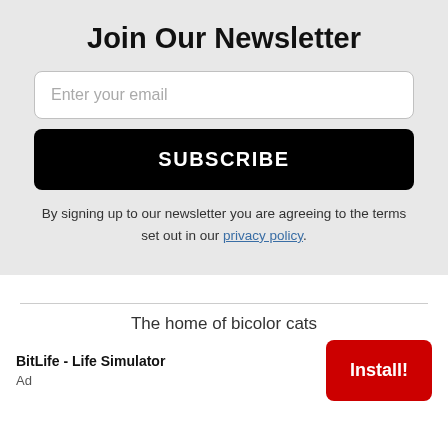Join Our Newsletter
[Figure (screenshot): Email input field with placeholder text 'Enter your email']
[Figure (screenshot): Black SUBSCRIBE button]
By signing up to our newsletter you are agreeing to the terms set out in our privacy policy.
The home of bicolor cats
BitLife - Life Simulator
Ad
[Figure (screenshot): Red Install! button for app advertisement]